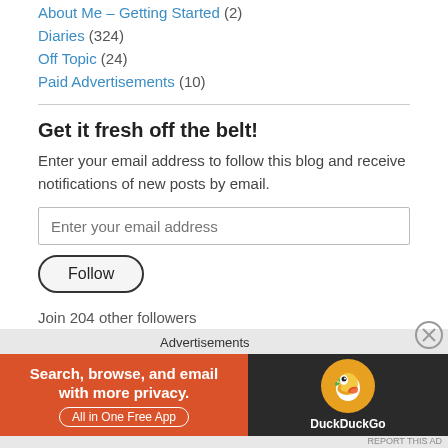About Me – Getting Started (2)
Diaries (324)
Off Topic (24)
Paid Advertisements (10)
Get it fresh off the belt!
Enter your email address to follow this blog and receive notifications of new posts by email.
Enter your email address
Follow
Join 204 other followers
Advertisements
[Figure (infographic): DuckDuckGo advertisement banner: orange section with text 'Search, browse, and email with more privacy. All in One Free App' and dark section with DuckDuckGo logo]